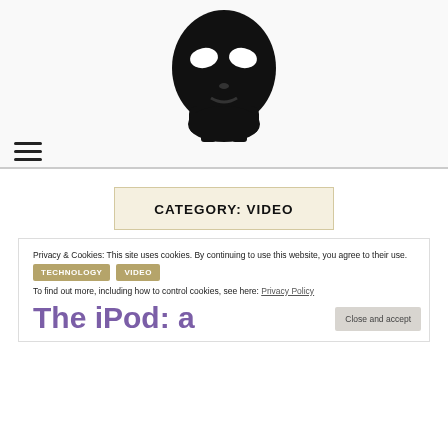[Figure (logo): Black stylized skull/face logo icon centered at top of page]
≡ (menu icon)
CATEGORY: VIDEO
Privacy & Cookies: This site uses cookies. By continuing to use this website, you agree to their use. To find out more, including how to control cookies, see here: Privacy Policy
TECHNOLOGY
VIDEO
The iPod: a